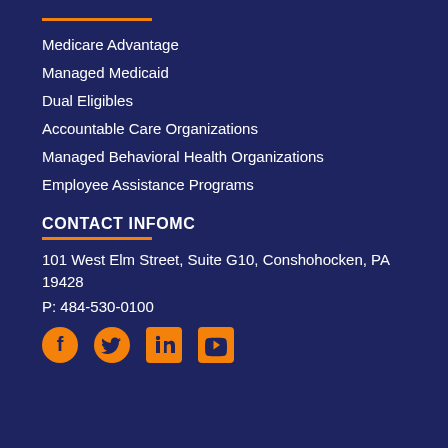Medicare Advantage
Managed Medicaid
Dual Eligibles
Accountable Care Organizations
Managed Behavioral Health Organizations
Employee Assistance Programs
CONTACT INFOMC
101 West Elm Street, Suite G10, Conshohocken, PA
19428
P: 484-530-0100
[Figure (illustration): Social media icons: Facebook, Twitter, LinkedIn, YouTube in orange circles/squares]